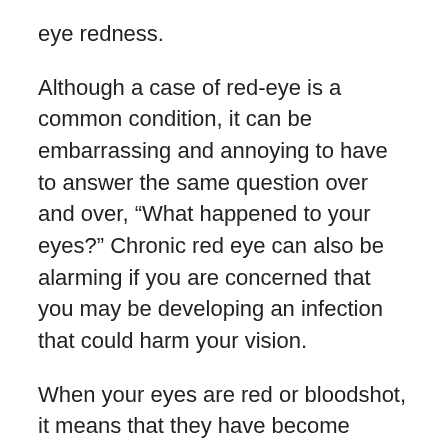eye redness.
Although a case of red-eye is a common condition, it can be embarrassing and annoying to have to answer the same question over and over, “What happened to your eyes?” Chronic red eye can also be alarming if you are concerned that you may be developing an infection that could harm your vision.
When your eyes are red or bloodshot, it means that they have become irritated by an internal or external factor. Depending on the source of irritation, the redness may extend across the entire sclera, or it may be isolated to a few spots or lines in the whites of your eyes. Associated symptoms of this condition can